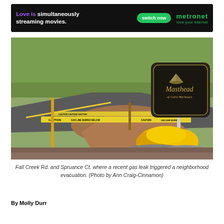[Figure (other): Metronet advertisement banner: 'Love is simultaneously streaming movies.' with 'switch now' button and Metronet logo]
[Figure (photo): Outdoor photo showing caution tape reading 'GAS LINE BURIED BELOW' stretched across a mound of dirt at the entrance to Masthead of Geist Harbours subdivision, with yellow chrysanthemums in foreground and trees in background]
Fall Creek Rd. and Spruance Ct. where a recent gas leak triggered a neighborhood evacuation. (Photo by Ann Craig-Cinnamon)
By Molly Durr